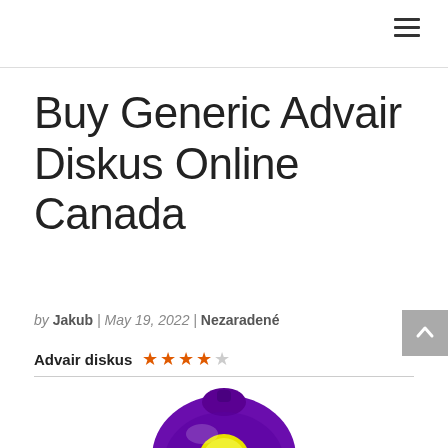≡
Buy Generic Advair Diskus Online Canada
by Jakub | May 19, 2022 | Nezaradené
Advair diskus ★★★★☆
[Figure (photo): Purple Advair Diskus inhaler device with yellow label center]